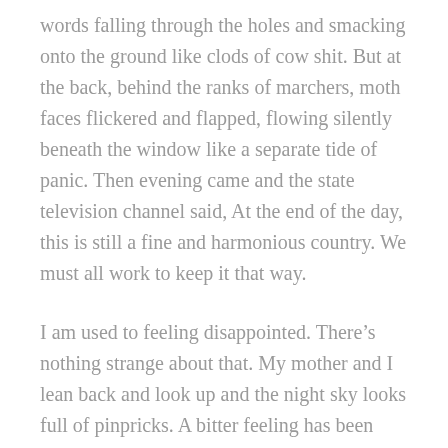words falling through the holes and smacking onto the ground like clods of cow shit. But at the back, behind the ranks of marchers, moth faces flickered and flapped, flowing silently beneath the window like a separate tide of panic. Then evening came and the state television channel said, At the end of the day, this is still a fine and harmonious country. We must all work to keep it that way.
I am used to feeling disappointed. There’s nothing strange about that. My mother and I lean back and look up and the night sky looks full of pinpricks. A bitter feeling has been collecting beneath my jaw and seeping into my cheeks; now it vanishes.
Ma, I say. If you’re tired, go to sleep.